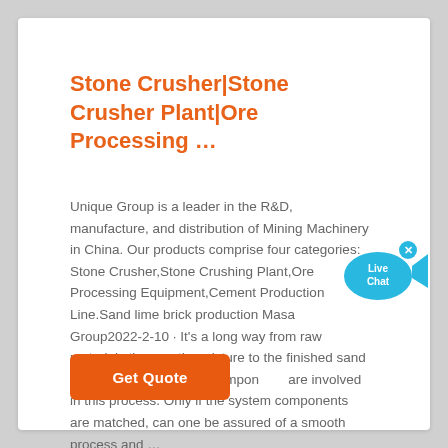Stone Crusher|Stone Crusher Plant|Ore Processing …
Unique Group is a leader in the R&D, manufacture, and distribution of Mining Machinery in China. Our products comprise four categories: Stone Crusher,Stone Crushing Plant,Ore Processing Equipment,Cement Production Line.Sand lime brick production Masa Group2022-2-10 · It's a long way from raw materials through the mixture to the finished sand lime bricks. Many plant components are involved in this process. Only if the system components are matched, can one be assured of a smooth process and …
[Figure (other): Live Chat button widget — a blue speech bubble with fish tail graphic showing 'Live Chat' text with an orange close button]